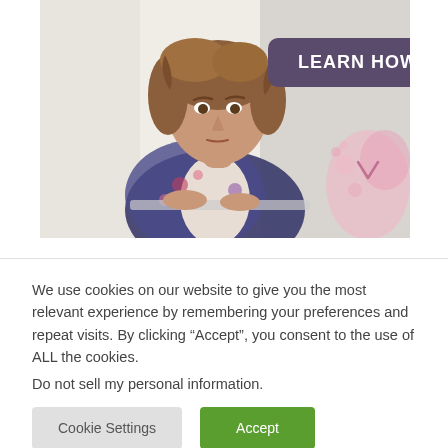[Figure (photo): A woman with short brown hair looking at a laptop screen, wearing a floral jacket. Overlaid with a purple rounded rectangle button reading 'LEARN HOW' in white bold text. A pink watercolor-style decorative element is visible on the right side.]
We use cookies on our website to give you the most relevant experience by remembering your preferences and repeat visits. By clicking “Accept”, you consent to the use of ALL the cookies.
Do not sell my personal information.
Cookie Settings
Accept